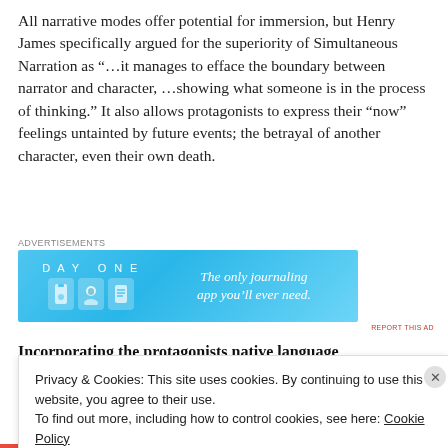All narrative modes offer potential for immersion, but Henry James specifically argued for the superiority of Simultaneous Narration as "...it manages to efface the boundary between narrator and character, ...showing what someone is in the process of thinking." It also allows protagonists to express their "now" feelings untainted by future events; the betrayal of another character, even their own death.
[Figure (other): Advertisement banner for Day One journaling app with blue background, icons of a door, person, and notebook, and tagline 'The only journaling app you'll ever need.']
Incorporating the protagonists native language
Privacy & Cookies: This site uses cookies. By continuing to use this website, you agree to their use.
To find out more, including how to control cookies, see here: Cookie Policy
Close and accept